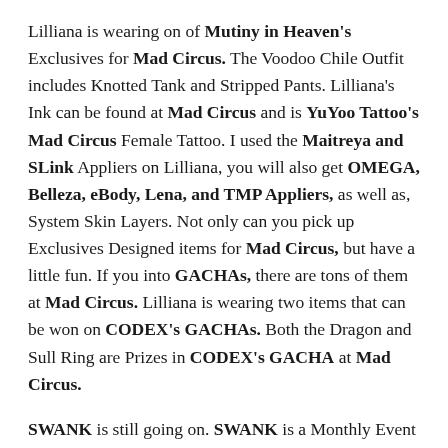Lilliana is wearing on of Mutiny in Heaven's Exclusives for Mad Circus.  The Voodoo Chile Outfit includes Knotted Tank and Stripped Pants.  Lilliana's Ink can be found at Mad Circus and is YuYoo Tattoo's Mad Circus Female Tattoo.  I used the Maitreya and SLink Appliers on Lilliana, you will also get OMEGA, Belleza, eBody, Lena, and TMP Appliers, as well as, System Skin Layers.  Not only can you pick up Exclusives Designed items for Mad Circus, but have a little fun.  If you into GACHAs, there are tons of them at Mad Circus.  Lilliana is wearing two items that can be won on CODEX's GACHAs.  Both the Dragon and Sull Ring are Prizes in CODEX's GACHA at Mad Circus.
SWANK is still going on.  SWANK is a Monthly Event which usually opens on the 7th or each Month and ends at the end of each Month.  SWANK is another Huge...